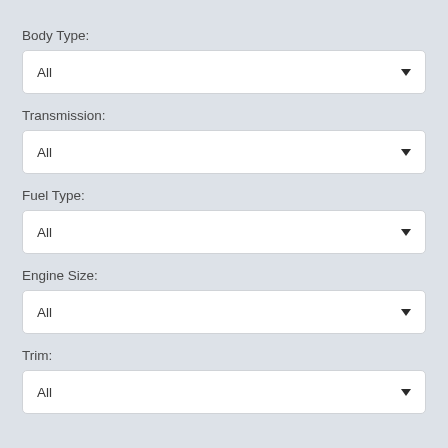Body Type:
[Figure (screenshot): Dropdown selector showing 'All' for Body Type]
Transmission:
[Figure (screenshot): Dropdown selector showing 'All' for Transmission]
Fuel Type:
[Figure (screenshot): Dropdown selector showing 'All' for Fuel Type]
Engine Size:
[Figure (screenshot): Dropdown selector showing 'All' for Engine Size]
Trim:
[Figure (screenshot): Dropdown selector showing 'All' for Trim]